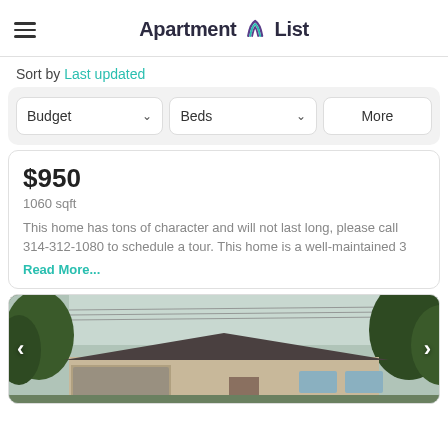Apartment List
Sort by Last updated
Budget  Beds  More
$950
1060 sqft
This home has tons of character and will not last long, please call 314-312-1080 to schedule a tour. This home is a well-maintained 3
Read More...
[Figure (photo): Exterior photo of a single-story house with a dark roof and attached garage, surrounded by trees, viewed from street level.]